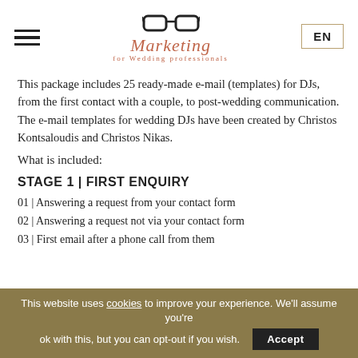Marketing for Wedding professionals
This package includes 25 ready-made e-mail (templates) for DJs, from the first contact with a couple, to post-wedding communication. The e-mail templates for wedding DJs have been created by Christos Kontsaloudis and Christos Nikas.
What is included:
STAGE 1 | FIRST ENQUIRY
01 | Answering a request from your contact form
02 | Answering a request not via your contact form
03 | First email after a phone call from them
This website uses cookies to improve your experience. We'll assume you're ok with this, but you can opt-out if you wish. Accept